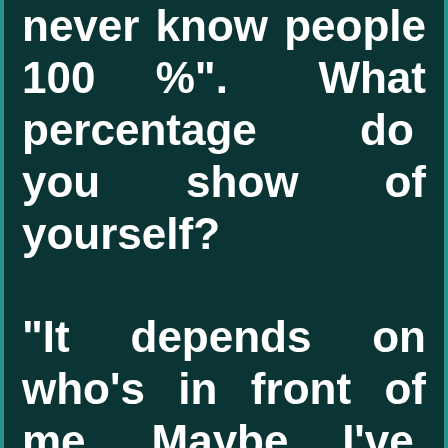never know people 100 %". What percentage do you show of yourself?

"It depends on who's in front of me. Maybe I've said some odd things, but it's all true. And you're right; I don't allow others to